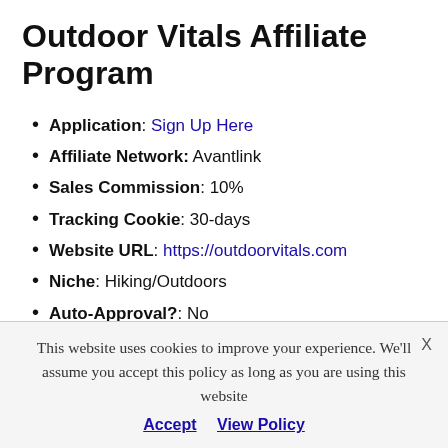Outdoor Vitals Affiliate Program
Application: Sign Up Here
Affiliate Network: Avantlink
Sales Commission: 10%
Tracking Cookie: 30-days
Website URL: https://outdoorvitals.com
Niche: Hiking/Outdoors
Auto-Approval?: No
The selection from this affiliate is pretty small. But they do have some good gear and some
This website uses cookies to improve your experience. We'll assume you accept this policy as long as you are using this website
Accept   View Policy